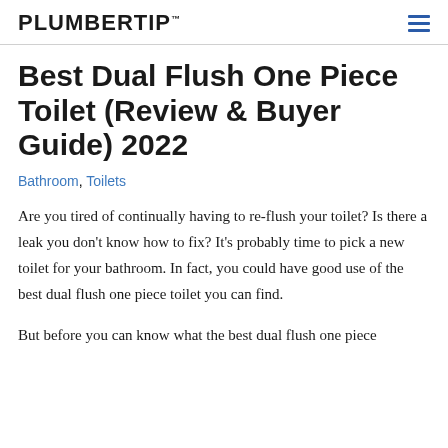PLUMBERTIP™
Best Dual Flush One Piece Toilet (Review & Buyer Guide) 2022
Bathroom, Toilets
Are you tired of continually having to re-flush your toilet? Is there a leak you don't know how to fix? It's probably time to pick a new toilet for your bathroom. In fact, you could have good use of the best dual flush one piece toilet you can find.
But before you can know what the best dual flush one piece toilet...